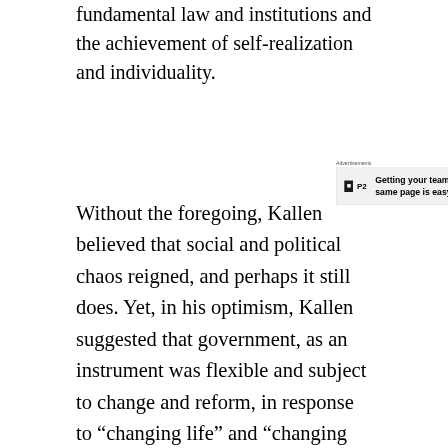fundamental law and institutions and the achievement of self-realization and individuality.
[Figure (other): Advertisement box for P2 with text 'Getting your team on the same page is easy. And free.']
Without the foregoing, Kallen believed that social and political chaos reigned, and perhaps it still does. Yet, in his optimism, Kallen suggested that government, as an instrument was flexible and subject to change and reform, in response to “changing life” and “changing opinion.” (220) “Intelligence and wisdom prevail over politics.” When our inalienable talent and ability transcend the confusion of our “common life” a great democracy emerges. Kallen stated that it is a “Federal republic in substance a democracy of nationalities,